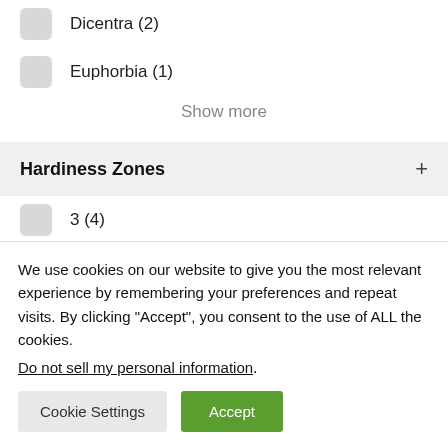Dicentra (2)
Euphorbia (1)
Show more
Hardiness Zones +
3 (4)
4 (31)
5 (52)
6 (53)
We use cookies on our website to give you the most relevant experience by remembering your preferences and repeat visits. By clicking “Accept”, you consent to the use of ALL the cookies.
Do not sell my personal information.